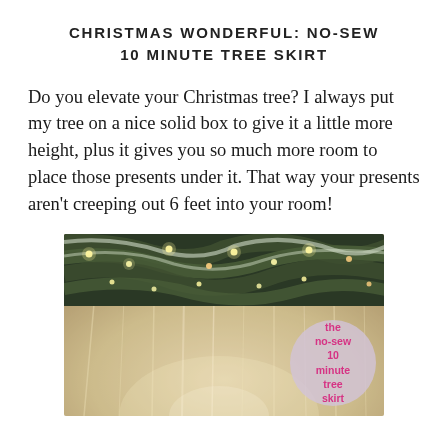CHRISTMAS WONDERFUL: NO-SEW 10 MINUTE TREE SKIRT
Do you elevate your Christmas tree? I always put my tree on a nice solid box to give it a little more height, plus it gives you so much more room to place those presents under it. That way your presents aren't creeping out 6 feet into your room!
[Figure (photo): Photo of a Christmas tree skirt made of layered tulle, with frosted pine branches decorated with warm white lights overhead. A circular pink/grey badge overlay reads 'the no-sew 10 minute tree skirt' in pink text.]